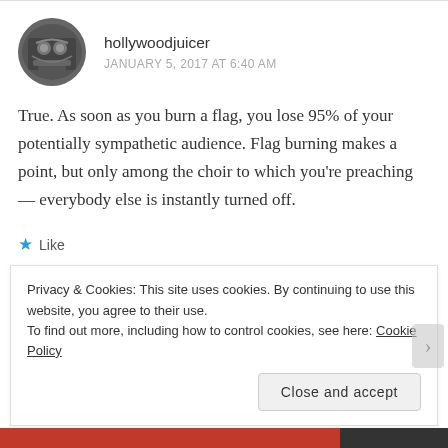hollywoodjuicer
JANUARY 5, 2017 AT 6:40 AM
True. As soon as you burn a flag, you lose 95% of your potentially sympathetic audience. Flag burning makes a point, but only among the choir to which you’re preaching — everybody else is instantly turned off.
★ Like
Privacy & Cookies: This site uses cookies. By continuing to use this website, you agree to their use.
To find out more, including how to control cookies, see here: Cookie Policy
Close and accept